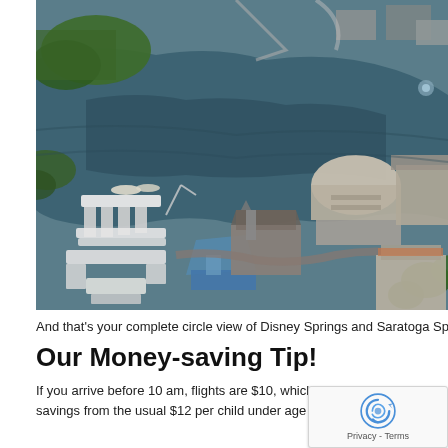[Figure (photo): Aerial view of Disney Springs and Saratoga Springs Resort, showing a large lake/waterway with docks, buildings, and surrounding greenery viewed from above.]
And that's your complete circle view of Disney Springs and Saratoga Springs Res
Our Money-saving Tip!
If you arrive before 10 am, flights are $10, which is a significant savi savings from the usual $12 per child under age 10. It's called the Early Bird Speci